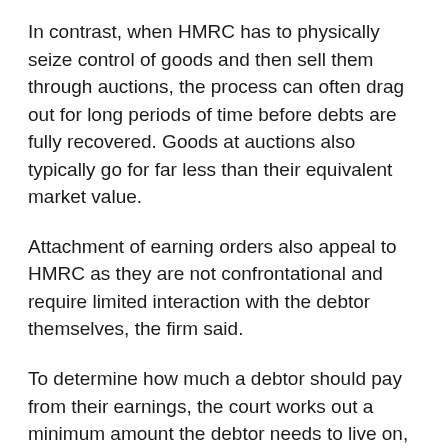In contrast, when HMRC has to physically seize control of goods and then sell them through auctions, the process can often drag out for long periods of time before debts are fully recovered. Goods at auctions also typically go for far less than their equivalent market value.
Attachment of earning orders also appeal to HMRC as they are not confrontational and require limited interaction with the debtor themselves, the firm said.
To determine how much a debtor should pay from their earnings, the court works out a minimum amount the debtor needs to live on, known as the 'protected earnings rate'. The sum owed is then deducted from money earned above this amount.
UHY Hacker Young says HMRC is becoming increasingly impatient over chasing outstanding debts and continues to build up its recovery teams. For example, HMRC